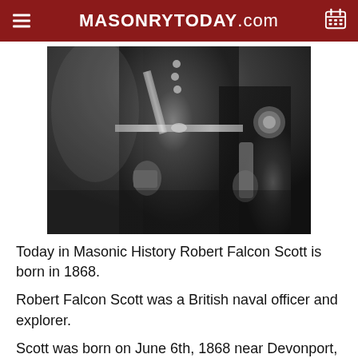MASONRYTODAY.com
[Figure (photo): Black and white photograph showing a person in military uniform, cropped to show torso and hands holding items, wearing a decorated belt and uniform with buttons.]
Today in Masonic History Robert Falcon Scott is born in 1868.
Robert Falcon Scott was a British naval officer and explorer.
Scott was born on June 6th, 1868 near Devonport, Plymouth, England. According to family tradition Scott and